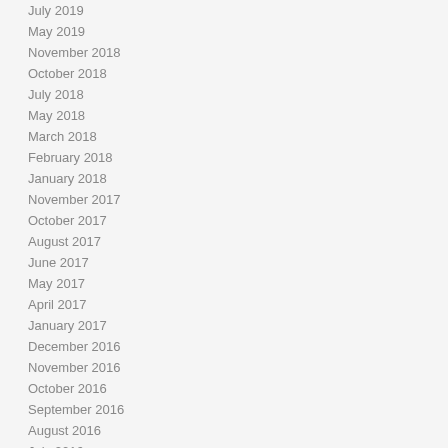July 2019
May 2019
November 2018
October 2018
July 2018
May 2018
March 2018
February 2018
January 2018
November 2017
October 2017
August 2017
June 2017
May 2017
April 2017
January 2017
December 2016
November 2016
October 2016
September 2016
August 2016
July 2016
June 2016
May 2016
April 2016